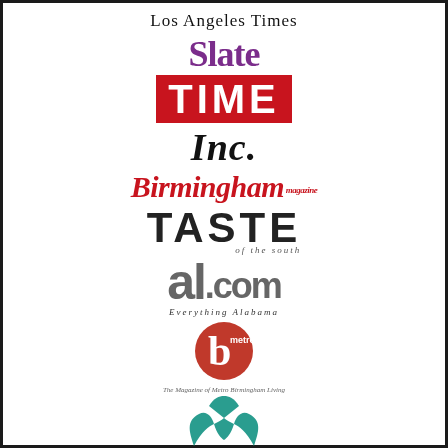[Figure (logo): Los Angeles Times masthead logo in blackletter/gothic serif font]
[Figure (logo): Slate magazine logo in large bold purple serif text]
[Figure (logo): TIME magazine logo in large white uppercase letters on red background]
[Figure (logo): Inc. magazine logo in large bold italic black serif text]
[Figure (logo): Birmingham magazine logo in red italic serif script with small 'magazine' text]
[Figure (logo): TASTE of the south logo in large uppercase sans-serif with small italic subtitle]
[Figure (logo): al.com Everything Alabama logo in large gray bold text]
[Figure (logo): Metro b logo — white b on red circular background with small tagline]
[Figure (logo): Teal whale tail / fish tail logo at bottom]